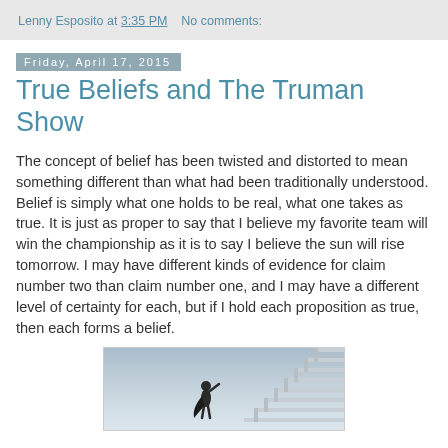Lenny Esposito at 3:35 PM   No comments:
Friday, April 17, 2015
True Beliefs and The Truman Show
The concept of belief has been twisted and distorted to mean something different than what had been traditionally understood. Belief is simply what one holds to be real, what one takes as true. It is just as proper to say that I believe my favorite team will win the championship as it is to say I believe the sun will rise tomorrow. I may have different kinds of evidence for claim number two than claim number one, and I may have a different level of certainty for each, but if I hold each proposition as true, then each forms a belief.
[Figure (photo): A person standing at the bottom of a large white staircase reaching upward, with a grey-blue sky in the background. Scene appears to be from The Truman Show.]